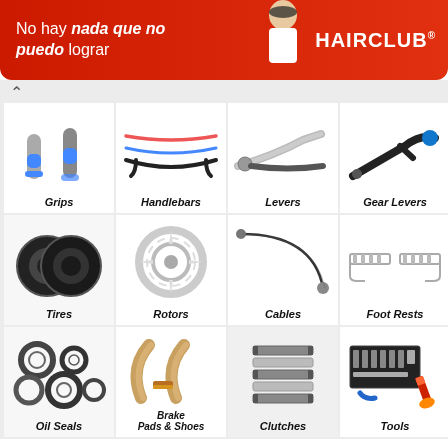[Figure (illustration): HairClub advertisement banner in red with white text 'No hay nada que no puedo lograr' and 'HAIRCLUB' brand name, with image of a smiling woman]
[Figure (infographic): Product category grid showing motorcycle/dirt bike parts: Grips, Handlebars, Levers, Gear Levers, Tires, Rotors, Cables, Foot Rests, Oil Seals, Brake Pads & Shoes, Clutches, Tools]
And over 100,000 items on our production line !
Check Out Now !